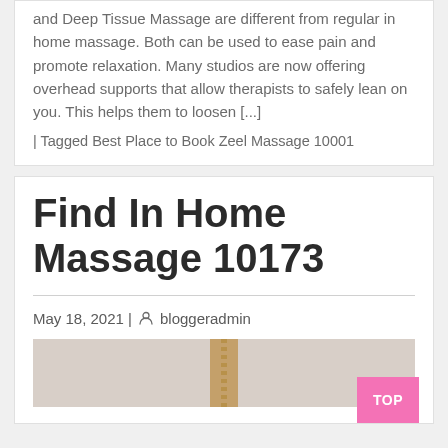and Deep Tissue Massage are different from regular in home massage. Both can be used to ease pain and promote relaxation. Many studios are now offering overhead supports that allow therapists to safely lean on you. This helps them to loosen [...]
| Tagged Best Place to Book Zeel Massage 10001
Find In Home Massage 10173
May 18, 2021 | bloggeradmin
[Figure (photo): Partial image of a gold/beige ornate object against a grey background, cropped at bottom of page]